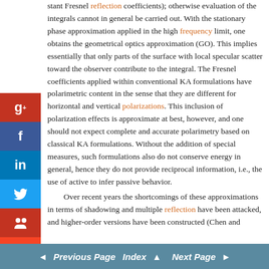stant Fresnel reflection coefficients); otherwise evaluation of the integrals cannot in general be carried out. With the stationary phase approximation applied in the high frequency limit, one obtains the geometrical optics approximation (GO). This implies essentially that only parts of the surface with local specular scatter toward the observer contribute to the integral. The Fresnel coefficients applied within conventional KA formulations have polarimetric content in the sense that they are different for horizontal and vertical polarizations. This inclusion of polarization effects is approximate at best, however, and one should not expect complete and accurate polarimetry based on classical KA formulations. Without the addition of special measures, such formulations also do not conserve energy in general, hence they do not provide reciprocal information, i.e., the use of active to infer passive behavior.
Over recent years the shortcomings of these approximations in terms of shadowing and multiple reflection have been attacked, and higher-order versions have been constructed (Chen and
[Figure (other): Social media sharing icons: Google+, Facebook, LinkedIn, Twitter, social bookmarking, StumbleUpon]
◄ Previous Page  Index ▲  Next Page ►